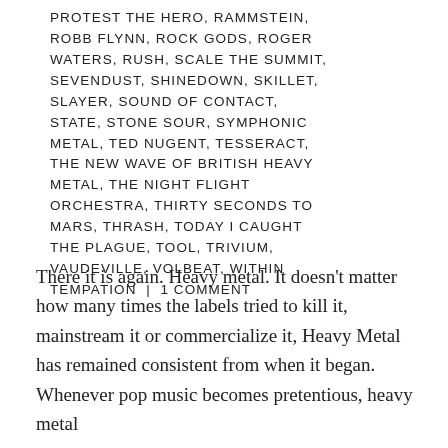PROTEST THE HERO, RAMMSTEIN, ROBB FLYNN, ROCK GODS, ROGER WATERS, RUSH, SCALE THE SUMMIT, SEVENDUST, SHINEDOWN, SKILLET, SLAYER, SOUND OF CONTACT, STATE, STONE SOUR, SYMPHONIC METAL, TED NUGENT, TESSERACT, THE NEW WAVE OF BRITISH HEAVY METAL, THE NIGHT FLIGHT ORCHESTRA, THIRTY SECONDS TO MARS, THRASH, TODAY I CAUGHT THE PLAGUE, TOOL, TRIVIUM, VAUDEVILLE, VOLBEAT, WITHIN TEMPATION | 1 COMMENT
There it is again. Heavy metal. It doesn't matter how many times the labels tried to kill it, mainstream it or commercialize it, Heavy Metal has remained consistent from when it began. Whenever pop music becomes pretentious, heavy metal